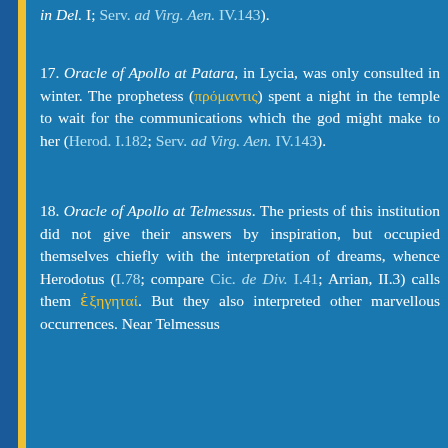in Del. I; Serv. ad Virg. Aen. IV.143).
17. Oracle of Apollo at Patara, in Lycia, was only consulted in winter. The prophetess (πρόμαντις) spent a night in the temple to wait for the communications which the god might make to her (Herod. I.182; Serv. ad Virg. Aen. IV.143).
18. Oracle of Apollo at Telmessus. The priests of this institution did not give their answers by inspiration, but occupied themselves chiefly with the interpretation of dreams, whence Herodotus (I.78; compare Cic. de Div. I.41; Arrian, II.3) calls them ἐξηγηταί. But they also interpreted other marvellous occurrences. Near Telmessus